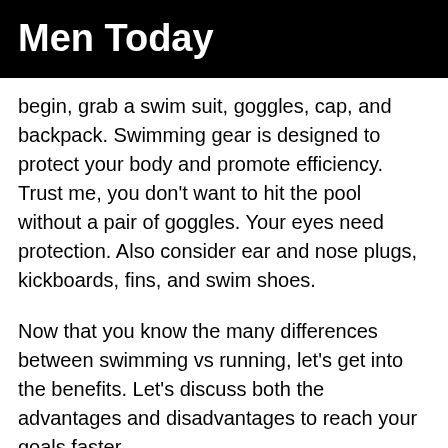Men Today
begin, grab a swim suit, goggles, cap, and backpack. Swimming gear is designed to protect your body and promote efficiency. Trust me, you don't want to hit the pool without a pair of goggles. Your eyes need protection. Also consider ear and nose plugs, kickboards, fins, and swim shoes.
Now that you know the many differences between swimming vs running, let's get into the benefits. Let's discuss both the advantages and disadvantages to reach your goals faster.
Advantages and Disadvantages